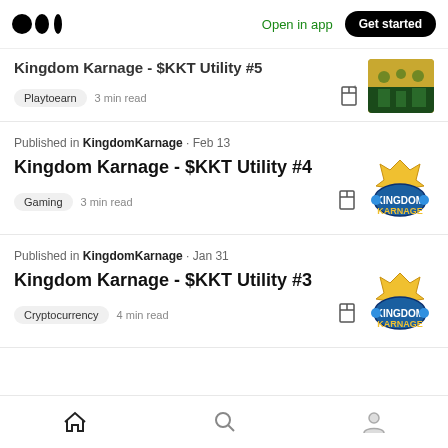Medium logo | Open in app | Get started
Kingdom Karnage - $KKT Utility #5
Playtoearn · 3 min read
Published in KingdomKarnage · Feb 13
Kingdom Karnage - $KKT Utility #4
Gaming · 3 min read
Published in KingdomKarnage · Jan 31
Kingdom Karnage - $KKT Utility #3
Cryptocurrency · 4 min read
Home | Search | Profile